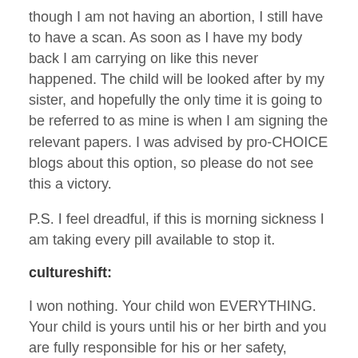though I am not having an abortion, I still have to have a scan. As soon as I have my body back I am carrying on like this never happened. The child will be looked after by my sister, and hopefully the only time it is going to be referred to as mine is when I am signing the relevant papers. I was advised by pro-CHOICE blogs about this option, so please do not see this a victory.
P.S. I feel dreadful, if this is morning sickness I am taking every pill available to stop it.
cultureshift:
I won nothing. Your child won EVERYTHING. Your child is yours until his or her birth and you are fully responsible for his or her safety, protection, and nourishment until that day. And you should be extremely PROUD of your decision to provide not only these things, but to provide his or her very LIFE.